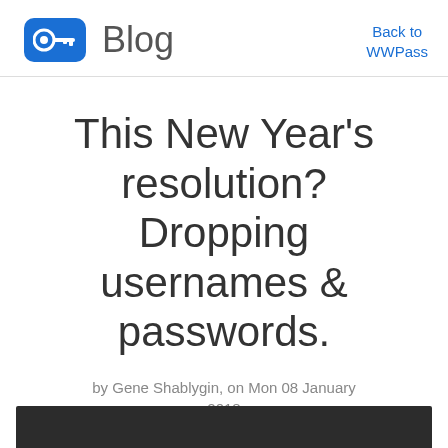Blog  Back to WWPass
This New Year's resolution? Dropping usernames & passwords.
by Gene Shablygin, on Mon 08 January 2018
[Figure (photo): Dark photographic image at bottom of page]